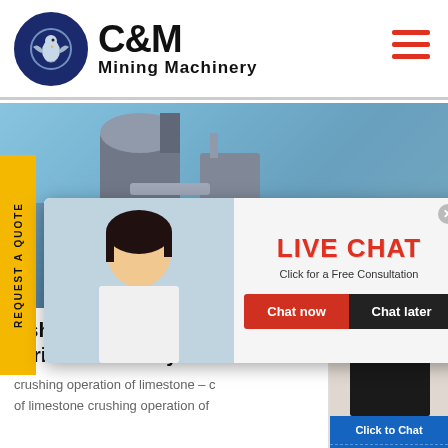[Figure (logo): C&M Mining Machinery logo with eagle in circular gear emblem]
[Figure (photo): Industrial mining equipment background with workers in yellow hard hats]
[Figure (screenshot): Live Chat popup overlay with 'LIVE CHAT' heading, 'Click for a Free Consultation' text, Chat now and Chat later buttons]
[Figure (photo): Right side panel showing chat agent woman with headset, blue header with 'Hours online', Click to Chat button, and Enquiry bar]
ushing Operation Of Li
srrireandsecuritycoza
crushing operation of limestone - crushing operation of limestone crushing operation of